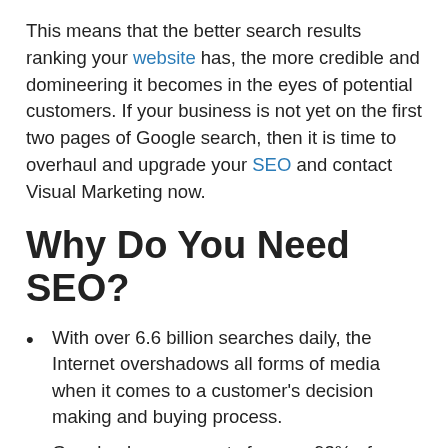This means that the better search results ranking your website has, the more credible and domineering it becomes in the eyes of potential customers. If your business is not yet on the first two pages of Google search, then it is time to overhaul and upgrade your SEO and contact Visual Marketing now.
Why Do You Need SEO?
With over 6.6 billion searches daily, the Internet overshadows all forms of media when it comes to a customer's decision making and buying process.
Google alone accounts for over 93% of Internet searches in Australia
Websites on the first position on Google's search results page has a 34.4% click-through rate on the desktop, and 31.4% on mobile.